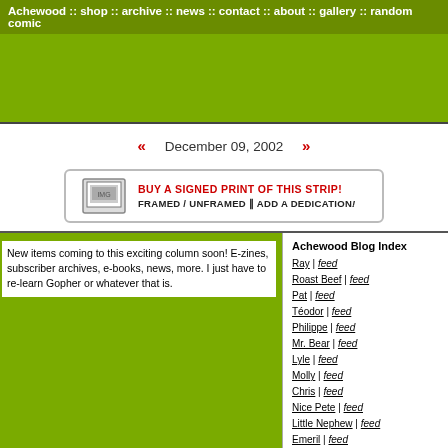Achewood :: shop :: archive :: news :: contact :: about :: gallery :: random comic
[Figure (other): Green banner/advertisement area]
« December 09, 2002 »
[Figure (other): Buy a signed print of this strip! Framed / Unframed || Add a Dedication!]
New items coming to this exciting column soon! E-zines, subscriber archives, e-books, news, more. I just have to re-learn Gopher or whatever that is.
Achewood Blog Index
Ray | feed
Roast Beef | feed
Pat | feed
Téodor | feed
Philippe | feed
Mr. Bear | feed
Lyle | feed
Molly | feed
Chris | feed
Nice Pete | feed
Little Nephew | feed
Emeril | feed